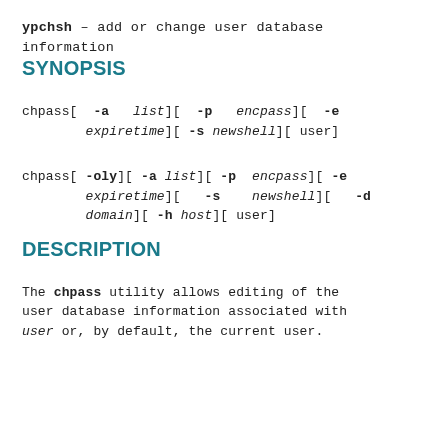ypchsh — add or change user database information
SYNOPSIS
chpass[ -a list][ -p encpass][ -e expiretime][ -s newshell][ user]
chpass[ -oly][ -a list][ -p encpass][ -e expiretime][ -s newshell][ -d domain][ -h host][ user]
DESCRIPTION
The chpass utility allows editing of the user database information associated with user or, by default, the current user.